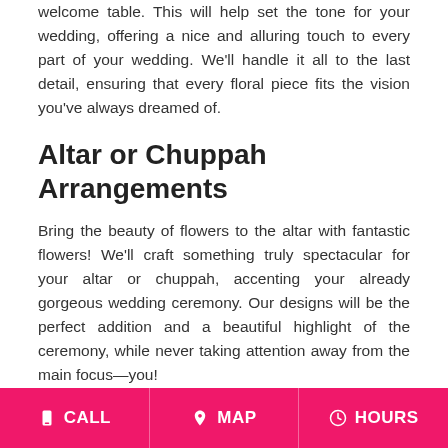welcome table. This will help set the tone for your wedding, offering a nice and alluring touch to every part of your wedding. We'll handle it all to the last detail, ensuring that every floral piece fits the vision you've always dreamed of.
Altar or Chuppah Arrangements
Bring the beauty of flowers to the altar with fantastic flowers! We'll craft something truly spectacular for your altar or chuppah, accenting your already gorgeous wedding ceremony. Our designs will be the perfect addition and a beautiful highlight of the ceremony, while never taking attention away from the main focus—you!
Aisle Decorations
Make your walk down the aisle even more stylish with floral decorations! These artfully designed
CALL   MAP   HOURS